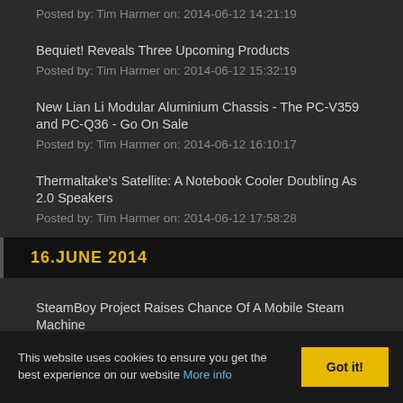Posted by: Tim Harmer on: 2014-06-12 14:21:19
Bequiet! Reveals Three Upcoming Products
Posted by: Tim Harmer on: 2014-06-12 15:32:19
New Lian Li Modular Aluminium Chassis - The PC-V359 and PC-Q36 - Go On Sale
Posted by: Tim Harmer on: 2014-06-12 16:10:17
Thermaltake's Satellite: A Notebook Cooler Doubling As 2.0 Speakers
Posted by: Tim Harmer on: 2014-06-12 17:58:28
16.JUNE 2014
SteamBoy Project Raises Chance Of A Mobile Steam Machine
Posted by: Tim Harmer on: 2014-06-16 21:23:55
This website uses cookies to ensure you get the best experience on our website More info   Got it!